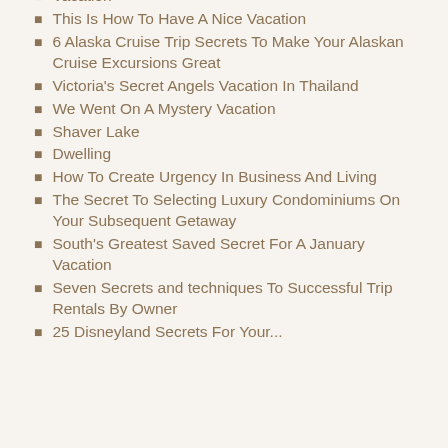Vacation
This Is How To Have A Nice Vacation
6 Alaska Cruise Trip Secrets To Make Your Alaskan Cruise Excursions Great
Victoria's Secret Angels Vacation In Thailand
We Went On A Mystery Vacation
Shaver Lake
Dwelling
How To Create Urgency In Business And Living
The Secret To Selecting Luxury Condominiums On Your Subsequent Getaway
South's Greatest Saved Secret For A January Vacation
Seven Secrets and techniques To Successful Trip Rentals By Owner
25 Disneyland Secrets For Your...